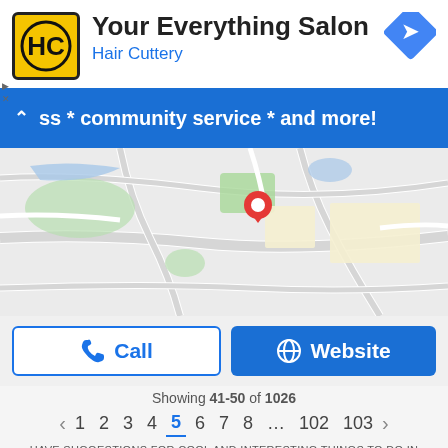Your Everything Salon
Hair Cuttery
ss * community service * and more!
[Figure (map): Google Maps showing location pin for Hair Cuttery - Your Everything Salon, with roads and green spaces visible]
Call
Website
Showing 41-50 of 1026
< 1 2 3 4 5 6 7 8 ... 102 103 >
HAVE SUGGESTIONS FOR COOL AND INTERESTING THINGS TO DO IN